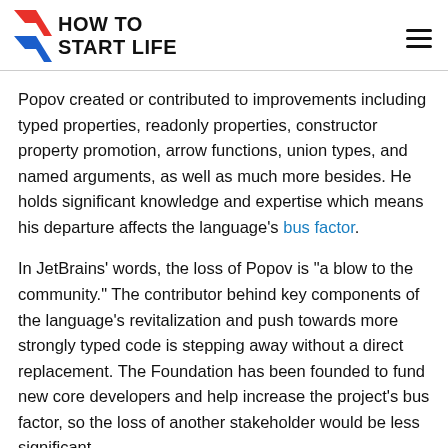HOW TO START LIFE
Popov created or contributed to improvements including typed properties, readonly properties, constructor property promotion, arrow functions, union types, and named arguments, as well as much more besides. He holds significant knowledge and expertise which means his departure affects the language's bus factor.
In JetBrains' words, the loss of Popov is "a blow to the community." The contributor behind key components of the language's revitalization and push towards more strongly typed code is stepping away without a direct replacement. The Foundation has been founded to fund new core developers and help increase the project's bus factor, so the loss of another stakeholder would be less significant.